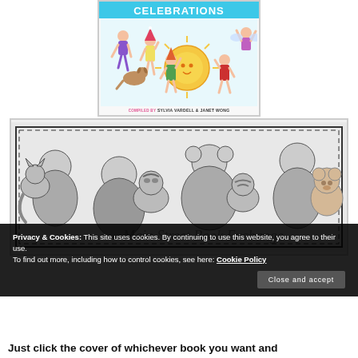[Figure (illustration): Book cover with title CELEBRATIONS compiled by Sylvia Vardell & Janet Wong, showing cartoon children dancing and celebrating with a sun illustration]
[Figure (illustration): Black and white book cover showing children reading with stuffed animals, Main Street Book Exchange style illustration]
Privacy & Cookies: This site uses cookies. By continuing to use this website, you agree to their use. To find out more, including how to control cookies, see here: Cookie Policy
Close and accept
Just click the cover of whichever book you want and